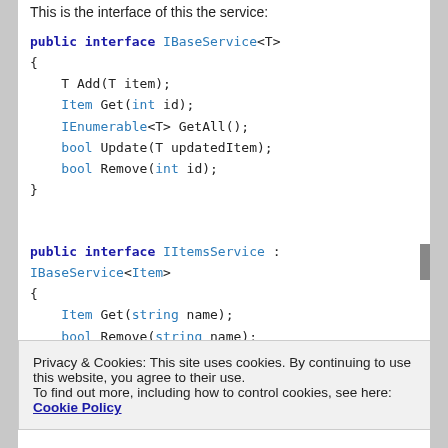This is the interface of this the service:
public interface IBaseService<T>
{
    T Add(T item);
    Item Get(int id);
    IEnumerable<T> GetAll();
    bool Update(T updatedItem);
    bool Remove(int id);
}
public interface IItemsService : IBaseService<Item>
{
    Item Get(string name);
    bool Remove(string name);
Privacy & Cookies: This site uses cookies. By continuing to use this website, you agree to their use.
To find out more, including how to control cookies, see here: Cookie Policy
Close and accept